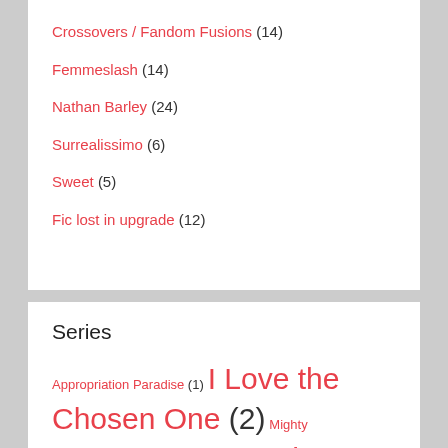Crossovers / Fandom Fusions (14)
Femmeslash (14)
Nathan Barley (24)
Surrealissimo (6)
Sweet (5)
Fic lost in upgrade (12)
Series
Appropriation Paradise (1) I Love the Chosen One (2) Mighty Boosh/Torchwood (1) Pea: or the Rediscovery of Howard B. Moon (2) The Aftermath Series (2) The…